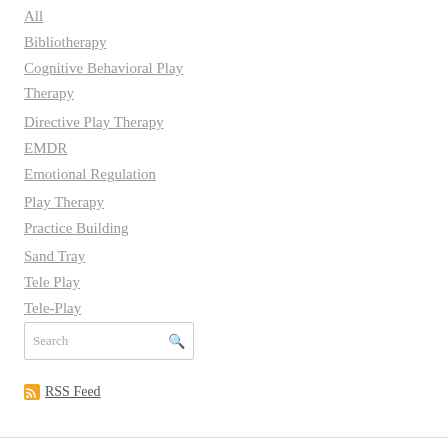All
Bibliotherapy
Cognitive Behavioral Play Therapy
Directive Play Therapy
EMDR
Emotional Regulation
Play Therapy
Practice Building
Sand Tray
Tele Play
Tele-Play
Search
RSS Feed